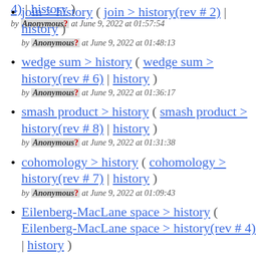4) | history )
by Anonymous? at June 9, 2022 at 01:57:54
join > history ( join > history(rev # 2) | history ) by Anonymous? at June 9, 2022 at 01:48:13
wedge sum > history ( wedge sum > history(rev # 6) | history ) by Anonymous? at June 9, 2022 at 01:36:17
smash product > history ( smash product > history(rev # 8) | history ) by Anonymous? at June 9, 2022 at 01:31:38
cohomology > history ( cohomology > history(rev # 7) | history ) by Anonymous? at June 9, 2022 at 01:09:43
Eilenberg-MacLane space > history ( Eilenberg-MacLane space > history(rev # 4) | history )